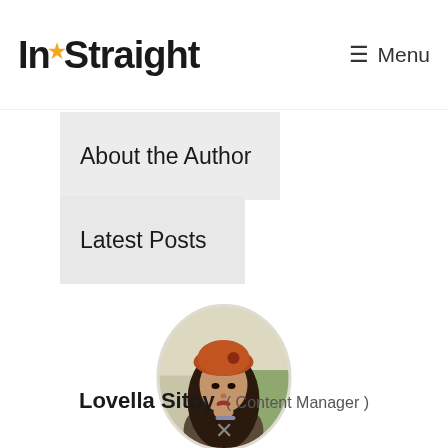InStraight  Menu
About the Author
Latest Posts
[Figure (photo): Circular portrait photo of Lovella Sitoy, a woman wearing an orange/rust-colored beret hat, with long dark hair, resting her hand on her chin, set against a blurred outdoor background.]
Lovella Sitoy  ( Content Manager )